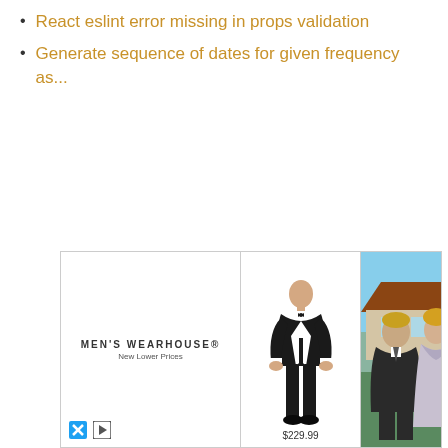React eslint error missing in props validation
Generate sequence of dates for given frequency as...
[Figure (photo): Men's Wearhouse advertisement featuring a man in a black tuxedo priced at $229.99 and a couple dressed formally, with the Men's Wearhouse logo and 'New Lower Prices' tagline]